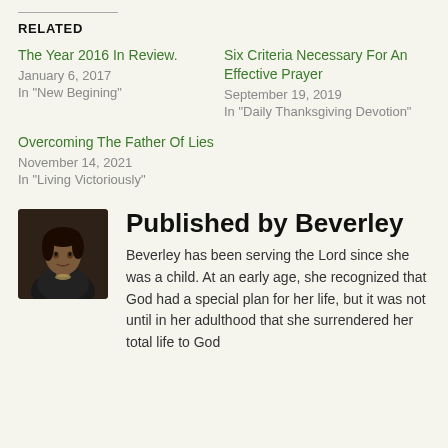RELATED
The Year 2016 In Review.
January 6, 2017
In "New Begining"
Six Criteria Necessary For An Effective Prayer
September 19, 2019
In "Daily Thanksgiving Devotion"
Overcoming The Father Of Lies
November 14, 2021
In "Living Victoriously"
Published by Beverley
Beverley has been serving the Lord since she was a child. At an early age, she recognized that God had a special plan for her life, but it was not until in her adulthood that she surrendered her total life to God